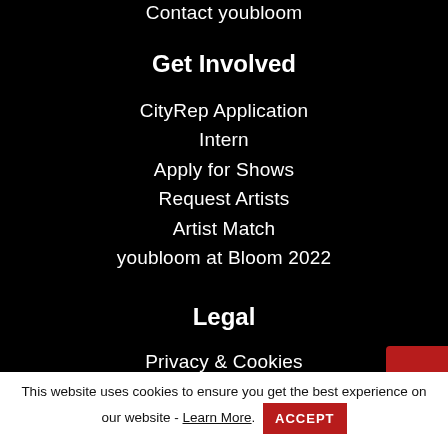Contact youbloom
Get Involved
CityRep Application
Intern
Apply for Shows
Request Artists
Artist Match
youbloom at Bloom 2022
Legal
Privacy & Cookies
Terms
This website uses cookies to ensure you get the best experience on our website - Learn More. ACCEPT